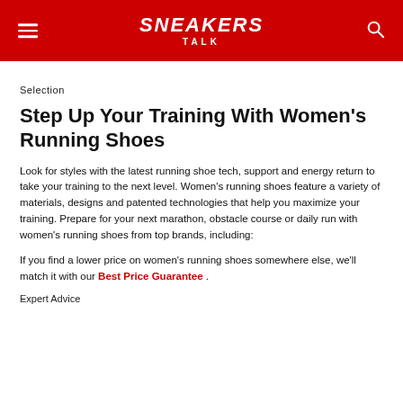SNEAKERS TALK
Selection
Step Up Your Training With Women's Running Shoes
Look for styles with the latest running shoe tech, support and energy return to take your training to the next level. Women's running shoes feature a variety of materials, designs and patented technologies that help you maximize your training. Prepare for your next marathon, obstacle course or daily run with women's running shoes from top brands, including:
If you find a lower price on women's running shoes somewhere else, we'll match it with our Best Price Guarantee.
Expert Advice